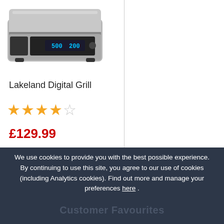[Figure (photo): Lakeland Digital Grill appliance shown from front angle, silver/stainless steel color with digital display showing 500 and 200]
Lakeland Digital Grill
[Figure (other): 4 out of 5 star rating shown with orange filled stars and one empty star]
£129.99
We use cookies to provide you with the best possible experience. By continuing to use this site, you agree to our use of cookies (including Analytics cookies). Find out more and manage your preferences here .
Got it!
Customer Favourites